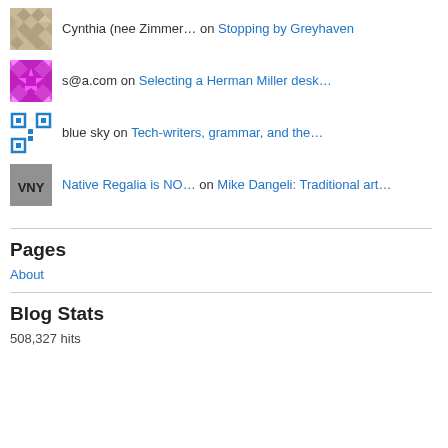Cynthia (nee Zimmer… on Stopping by Greyhaven
s@a.com on Selecting a Herman Miller desk…
blue sky on Tech-writers, grammar, and the…
Native Regalia is NO… on Mike Dangeli: Traditional art…
Pages
About
Blog Stats
508,327 hits